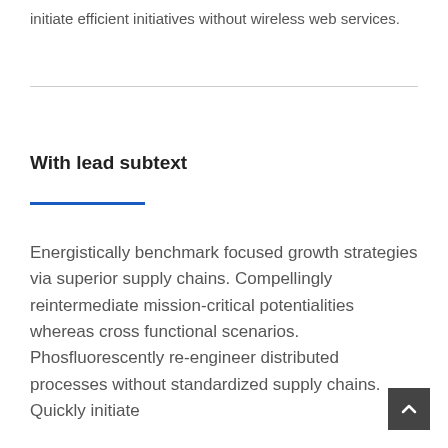initiate efficient initiatives without wireless web services.
With lead subtext
Energistically benchmark focused growth strategies via superior supply chains. Compellingly reintermediate mission-critical potentialities whereas cross functional scenarios. Phosfluorescently re-engineer distributed processes without standardized supply chains. Quickly initiate